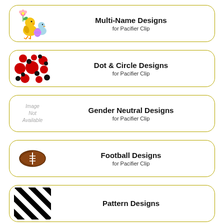[Figure (illustration): Easter chick and duckling cartoon with flower]
Multi-Name Designs
for Pacifier Clip
[Figure (illustration): Red and black dots/circles pattern on white background]
Dot & Circle Designs
for Pacifier Clip
[Figure (illustration): Image Not Available placeholder]
Gender Neutral Designs
for Pacifier Clip
[Figure (illustration): Brown football illustration]
Football Designs
for Pacifier Clip
[Figure (illustration): Black and white diagonal stripes pattern]
Pattern Designs